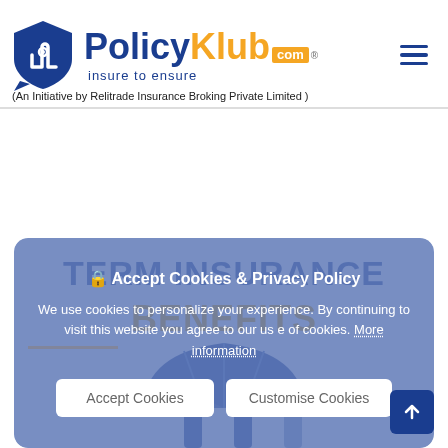[Figure (logo): PolicyKlub.com logo with shield/hand icon, blue and orange branding, tagline 'insure to ensure']
(An Initiative by Relitrade Insurance Broking Private Limited )
TERM INSURANCE
BENEFITS
[Figure (illustration): Cookie and Privacy Policy popup overlay with accept/customise buttons; umbrella illustration at bottom of term insurance section]